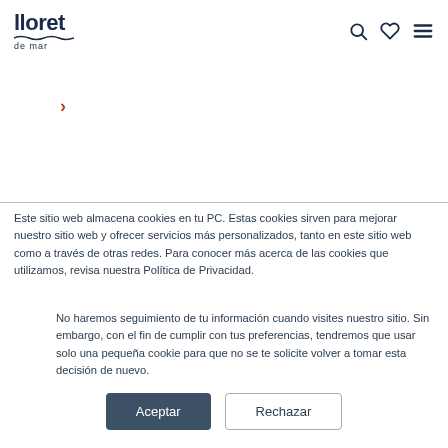lloret de mar [logo with navigation icons]
>
Este sitio web almacena cookies en tu PC. Estas cookies sirven para mejorar nuestro sitio web y ofrecer servicios más personalizados, tanto en este sitio web como a través de otras redes. Para conocer más acerca de las cookies que utilizamos, revisa nuestra Política de Privacidad.
No haremos seguimiento de tu información cuando visites nuestro sitio. Sin embargo, con el fin de cumplir con tus preferencias, tendremos que usar solo una pequeña cookie para que no se te solicite volver a tomar esta decisión de nuevo.
Aceptar  Rechazar